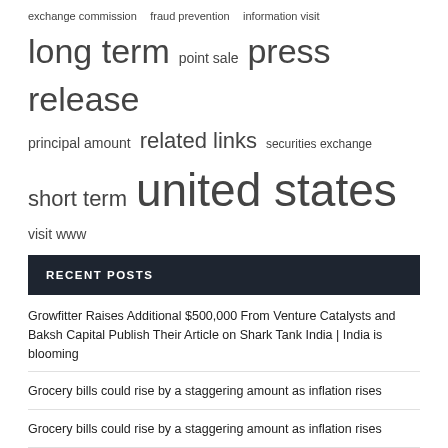exchange commission  fraud prevention  information visit
long term  point sale  press release
principal amount  related links  securities exchange
short term  united states  visit www
RECENT POSTS
Growfitter Raises Additional $500,000 From Venture Catalysts and Baksh Capital Publish Their Article on Shark Tank India | India is blooming
Grocery bills could rise by a staggering amount as inflation rises
Grocery bills could rise by a staggering amount as inflation rises
Cannabis producers destroyed a record amount of unsold product last year